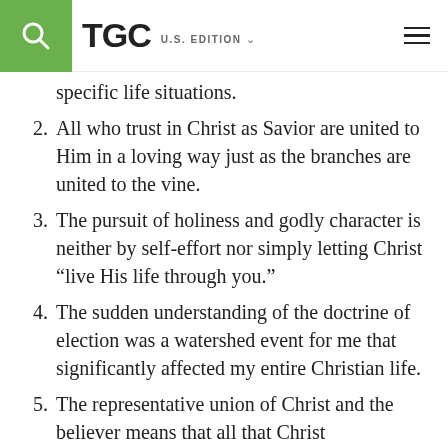TGC U.S. EDITION
specific life situations.
2. All who trust in Christ as Savior are united to Him in a loving way just as the branches are united to the vine.
3. The pursuit of holiness and godly character is neither by self-effort nor simply letting Christ “live His life through you.”
4. The sudden understanding of the doctrine of election was a watershed event for me that significantly affected my entire Christian life.
5. The representative union of Christ and the believer means that all that Christ